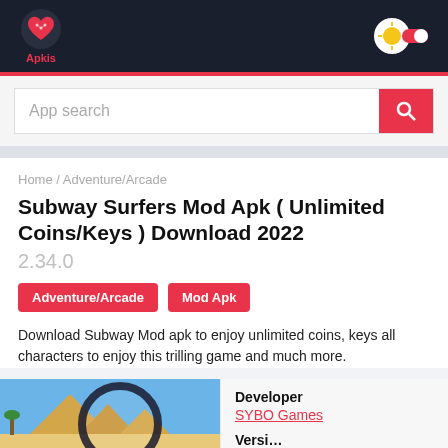[Figure (logo): Apkis logo — heart with circuit pattern in red/pink on dark navy background, with 'Apkis' text below]
[Figure (logo): Sun/toggle icon — circular white button with orange sun icon and red toggle, in the navbar]
App search
Home / Adventure/Arcade
Subway Surfers Mod Apk ( Unlimited Coins/Keys ) Download 2022
2.34.0
Adventure/Arcade
Mod Apk
Download Subway Mod apk to enjoy unlimited coins, keys all characters to enjoy this trilling game and much more.
[Figure (screenshot): Subway Surfers game screenshot showing pyramids and desert scene with a magnifying glass overlay]
Developer
SYBO Games